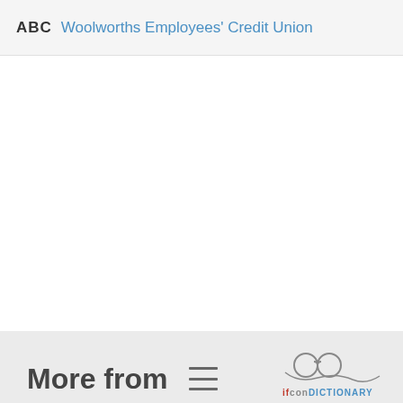ABC  Woolworths Employees' Credit Union
More from  [hamburger icon]  [dictionary logo]